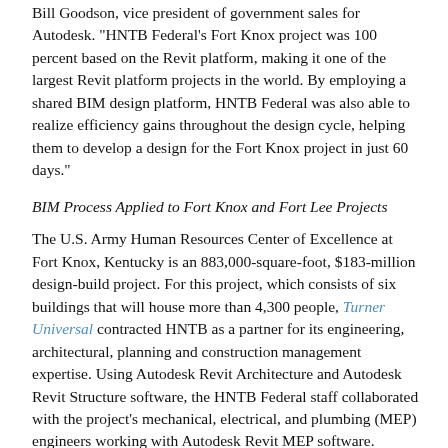Bill Goodson, vice president of government sales for Autodesk. "HNTB Federal's Fort Knox project was 100 percent based on the Revit platform, making it one of the largest Revit platform projects in the world. By employing a shared BIM design platform, HNTB Federal was also able to realize efficiency gains throughout the design cycle, helping them to develop a design for the Fort Knox project in just 60 days."
BIM Process Applied to Fort Knox and Fort Lee Projects
The U.S. Army Human Resources Center of Excellence at Fort Knox, Kentucky is an 883,000-square-foot, $183-million design-build project. For this project, which consists of six buildings that will house more than 4,300 people, Turner Universal contracted HNTB as a partner for its engineering, architectural, planning and construction management expertise. Using Autodesk Revit Architecture and Autodesk Revit Structure software, the HNTB Federal staff collaborated with the project's mechanical, electrical, and plumbing (MEP) engineers working with Autodesk Revit MEP software. Through the use of Autodesk Navisworks software, HNTB engineers routinely combined the various Revit models for early-phase clash detection and to support multidisciplinary coordination, which helped reduce the need for costly, time-delaying on-site change orders. The Revit models were also used with sustainable design analysis tools to help the project achieve an Army classification equivalent